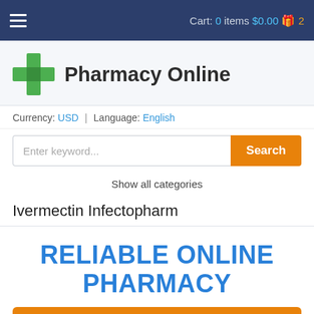Cart: 0 items $0.00 2
[Figure (logo): Green pharmacy cross logo with four equal arms]
Pharmacy Online
Currency: USD | Language: English
Enter keyword... Search
Show all categories
Ivermectin Infectopharm
RELIABLE ONLINE PHARMACY
> Click here to order now